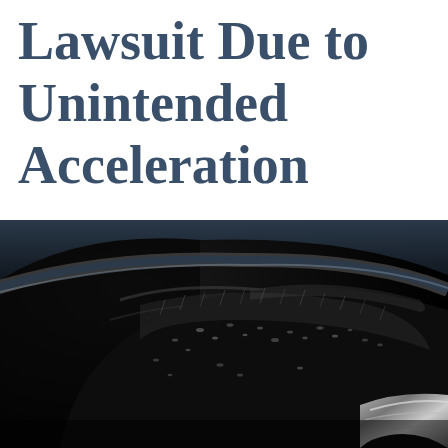Lawsuit Due to Unintended Acceleration
[Figure (photo): Close-up dark photograph of a wet car tire and wheel well, showing water droplets on black tire surface with metallic chrome detail visible at lower right, against a dark background.]